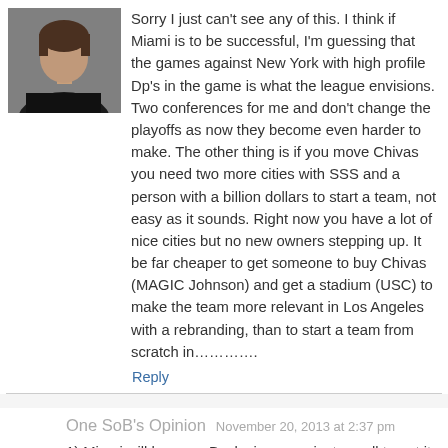[Figure (photo): Avatar photo of a person in dark clothing, cropped headshot]
Sorry I just can't see any of this. I think if Miami is to be successful, I'm guessing that the games against New York with high profile Dp's in the game is what the league envisions. Two conferences for me and don't change the playoffs as now they become even harder to make. The other thing is if you move Chivas you need two more cities with SSS and a person with a billion dollars to start a team, not easy as it sounds. Right now you have a lot of nice cities but no new owners stepping up. It be far cheaper to get someone to buy Chivas (MAGIC Johnson) and get a stadium (USC) to make the team more relevant in Los Angeles with a rebranding, than to start a team from scratch in………….
Reply
One SoB's Opinion
November 20, 2013 at 2:37 pm
1) Miami will happen. Becks is up against a wall to get it done. MLS wouldn't expand with only one-team in the South-East.
2) 21 teams is UGLY….Miami will make 22, and two conferences of 11 teams. Home and Away in conference (20 games) + home or away from opposite conference